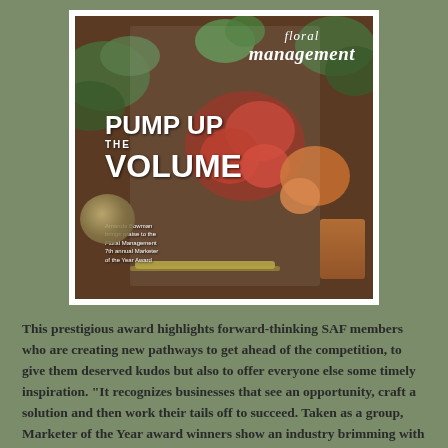[Figure (photo): A photograph of a Floral Management magazine cover showing 'PUMP UP THE VOLUME' headline, surrounded by floral arrangements on a wooden surface with twine and orange decorative elements]
This prestigious award highlights forward-thinking SAF members who are creating new pathways to get ahead of the competition, to give them deserved kudos but also to offer everyone else some timely inspiration. "It recognizes businesses that see an opportunity, craft a solution and then work their tails off to succeed. Taken as a group, Marketer of the Year award winners show an industry brimming with entrepreneurs, risk-takers, out-of-the-box thinkers, and perhaps most important of all, people who are willing to share